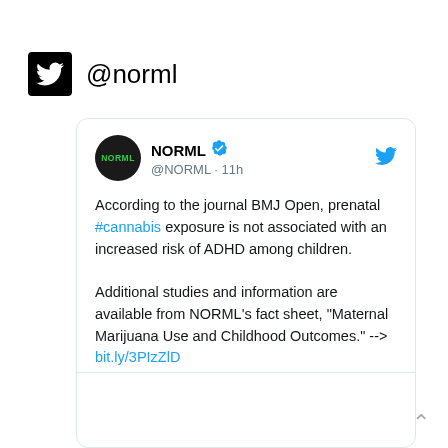@norml
[Figure (screenshot): Tweet from @NORML verified account, 11h ago. Text: According to the journal BMJ Open, prenatal #cannabis exposure is not associated with an increased risk of ADHD among children. Additional studies and information are available from NORML's fact sheet, "Maternal Marijuana Use and Childhood Outcomes." --> bit.ly/3PIzZlD]